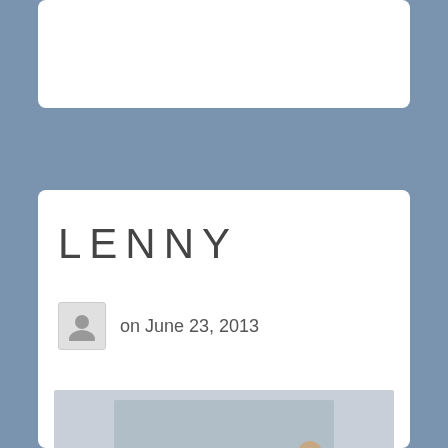LENNY
on June 23, 2013
[Figure (illustration): Vintage illustration of a group of children and adults gathered outside, likely in a snowy winter scene. Several young children with luggage tags visible, surrounded by adults helping them, reminiscent of wartime evacuation imagery.]